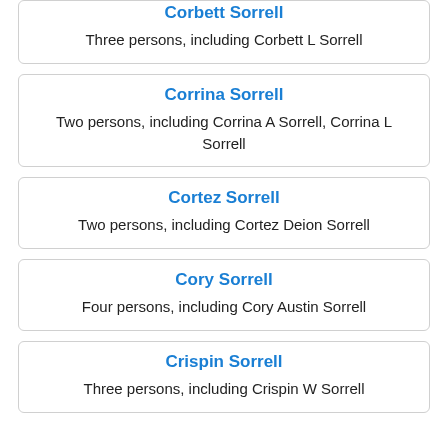Corbett Sorrell — Three persons, including Corbett L Sorrell
Corrina Sorrell — Two persons, including Corrina A Sorrell, Corrina L Sorrell
Cortez Sorrell — Two persons, including Cortez Deion Sorrell
Cory Sorrell — Four persons, including Cory Austin Sorrell
Crispin Sorrell — Three persons, including Crispin W Sorrell